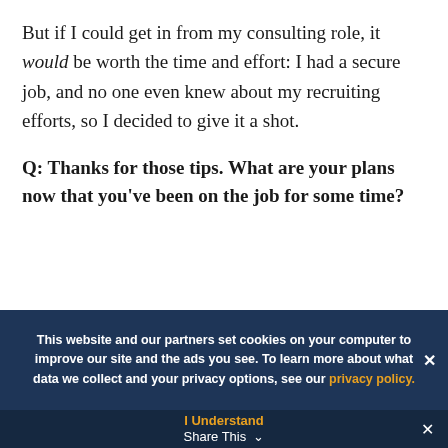But if I could get in from my consulting role, it would be worth the time and effort: I had a secure job, and no one even knew about my recruiting efforts, so I decided to give it a shot.
Q: Thanks for those tips. What are your plans now that you've been on the job for some time?
This website and our partners set cookies on your computer to improve our site and the ads you see. To learn more about what data we collect and your privacy options, see our privacy policy.
I Understand  Share This